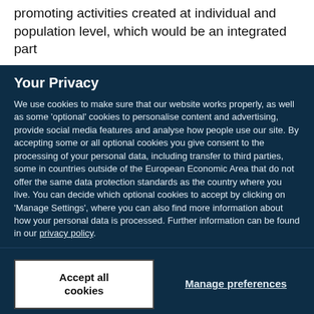promoting activities created at individual and population level, which would be an integrated part
Your Privacy
We use cookies to make sure that our website works properly, as well as some 'optional' cookies to personalise content and advertising, provide social media features and analyse how people use our site. By accepting some or all optional cookies you give consent to the processing of your personal data, including transfer to third parties, some in countries outside of the European Economic Area that do not offer the same data protection standards as the country where you live. You can decide which optional cookies to accept by clicking on 'Manage Settings', where you can also find more information about how your personal data is processed. Further information can be found in our privacy policy.
Accept all cookies
Manage preferences